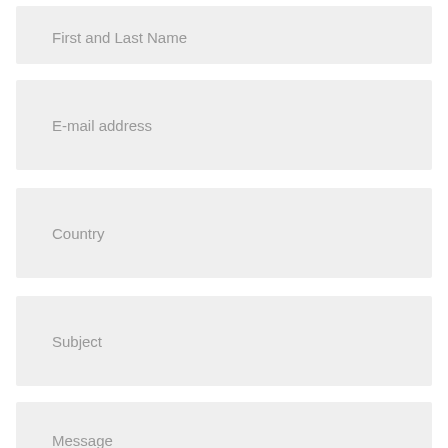First and Last Name
E-mail address
Country
Subject
Message